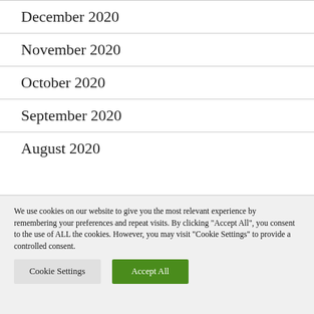December 2020
November 2020
October 2020
September 2020
August 2020
We use cookies on our website to give you the most relevant experience by remembering your preferences and repeat visits. By clicking "Accept All", you consent to the use of ALL the cookies. However, you may visit "Cookie Settings" to provide a controlled consent.
Cookie Settings | Accept All